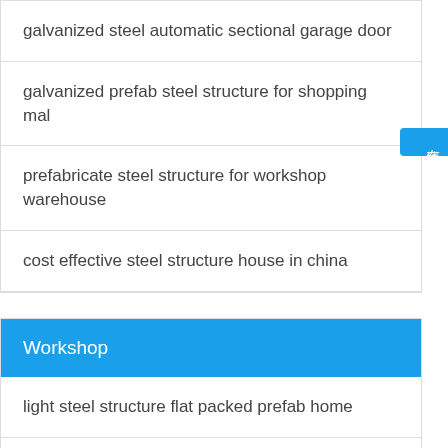galvanized steel automatic sectional garage door
galvanized prefab steel structure for shopping mal
prefabricate steel structure for workshop warehouse
cost effective steel structure house in china
Workshop
light steel structure flat packed prefab home
2018 space saving modern wall hung vanity bathroom cabinets
many size stainless steel tube astm tp904l